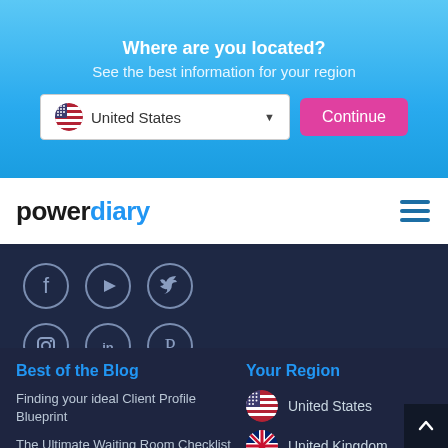Where are you located?
See the best information for your region
[Figure (screenshot): Dropdown showing United States flag and text, with a pink Continue button]
[Figure (logo): Power Diary logo with hamburger menu icon]
[Figure (illustration): Social media icons in circles: Facebook, YouTube, Twitter, Instagram, LinkedIn, Pinterest on dark navy background]
Best of the Blog
Finding your ideal Client Profile Blueprint
The Ultimate Waiting Room Checklist
Your Region
United States
United Kingdom
Australia